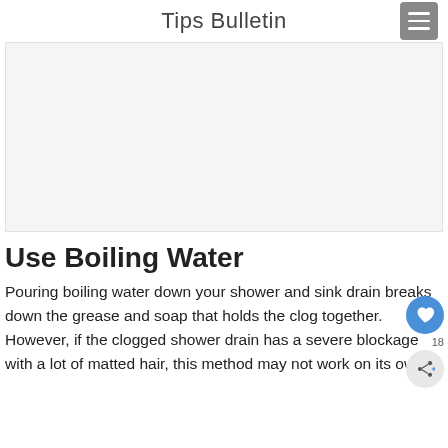Tips Bulletin
[Figure (other): Placeholder advertisement/image box, light gray background]
Use Boiling Water
Pouring boiling water down your shower and sink drain breaks down the grease and soap that holds the clog together. However, if the clogged shower drain has a severe blockage with a lot of matted hair, this method may not work on its own.